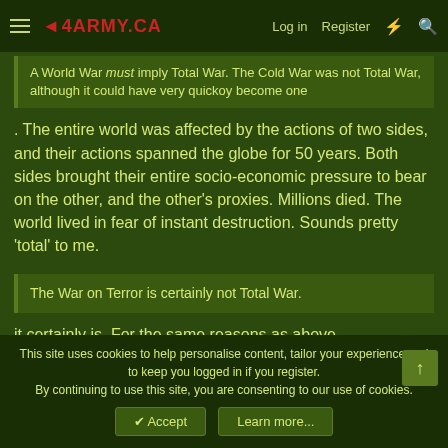4ARMY.CA | Log in | Register
A World War must imply Total War. The Cold War was not Total War, although it could have very quickoy become one
. The entire world was affected by the actions of two sides, and their actions spanned the globe for 50 years. Both sides brought their entire socio-economic pressure to bear on the other, and the other's proxies. Millions died. The world lived in fear of instant destruction. Sounds pretty 'total' to me.
The War on Terror is certainly not Total War.
it certainly is. For the same reasons as above.
To define a "world war" as simply a war that takes place across the world is self-defeating since in our modern world (and probably since
This site uses cookies to help personalise content, tailor your experience and to keep you logged in if you register.
By continuing to use this site, you are consenting to our use of cookies.